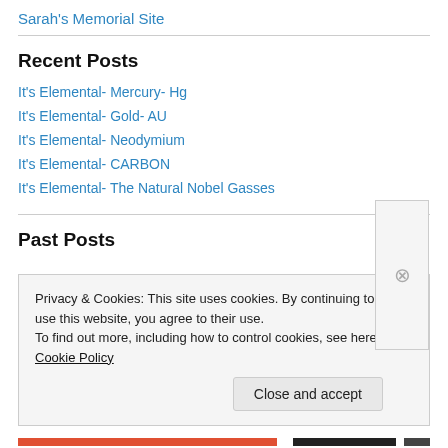Sarah's Memorial Site
Recent Posts
It's Elemental- Mercury- Hg
It's Elemental- Gold- AU
It's Elemental- Neodymium
It's Elemental- CARBON
It's Elemental- The Natural Nobel Gasses
Past Posts
Privacy & Cookies: This site uses cookies. By continuing to use this website, you agree to their use.
To find out more, including how to control cookies, see here: Cookie Policy
Close and accept